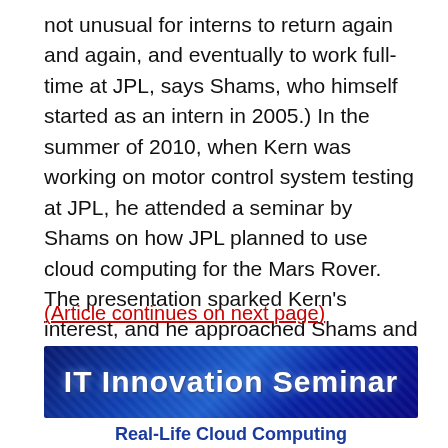not unusual for interns to return again and again, and eventually to work full-time at JPL, says Shams, who himself started as an intern in 2005.) In the summer of 2010, when Kern was working on motor control system testing at JPL, he attended a seminar by Shams on how JPL planned to use cloud computing for the Mars Rover. The presentation sparked Kern's interest, and he approached Shams and worked out an internship for the following summer.
(Article continues on next page)
[Figure (illustration): IT Innovation Seminar banner with blue tech background and glowing white text]
Real-Life Cloud Computing